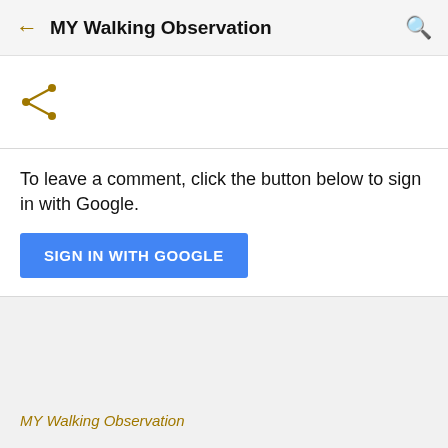MY Walking Observation
[Figure (illustration): Share icon (less-than sign with three circles at points) in dark gold color]
To leave a comment, click the button below to sign in with Google.
SIGN IN WITH GOOGLE
MY Walking Observation